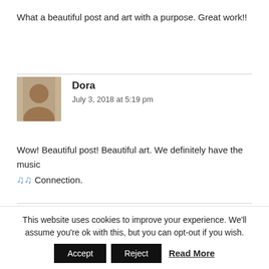What a beautiful post and art with a purpose. Great work!!
Dora
July 3, 2018 at 5:19 pm
Wow! Beautiful post! Beautiful art. We definitely have the music 🎵 Connection.
vickiemartin Post author
July 3, 2018 at 5:39 pm
This website uses cookies to improve your experience. We'll assume you're ok with this, but you can opt-out if you wish.
Accept  Reject  Read More